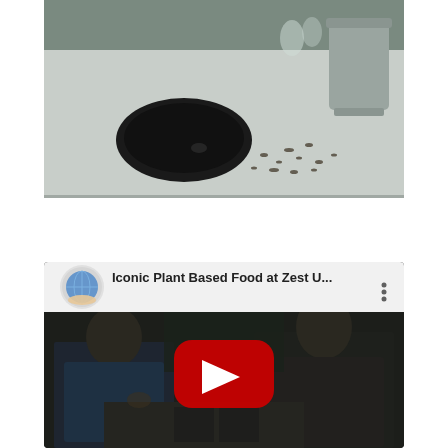[Figure (photo): Close-up photo of a restaurant table with a circular dark hole in a white/grey surface, with glassware and metal bucket in background]
[Figure (screenshot): YouTube video embed thumbnail showing two people sitting at a table in a restaurant setting, with YouTube play button overlay and title 'Iconic Plant Based Food at Zest U...' and a globe/earth icon avatar]